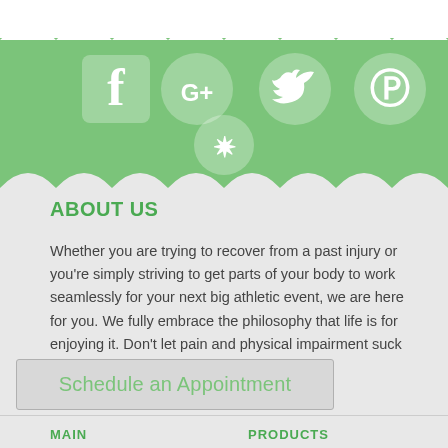[Figure (illustration): Green band with social media icons: Facebook (square), Google+ (circle), Twitter (bird), Pinterest (P circle) in top row, and Yelp (burst) in second row centered, with scalloped wave edge at bottom]
ABOUT US
Whether you are trying to recover from a past injury or you're simply striving to get parts of your body to work seamlessly for your next big athletic event, we are here for you. We fully embrace the philosophy that life is for enjoying it. Don't let pain and physical impairment suck the fun out of your life.
Schedule an Appointment
MAIN    PRODUCTS